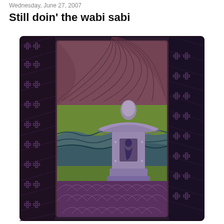Wednesday, June 27, 2007
Still doin' the wabi sabi
[Figure (photo): A textile art quilt featuring a Japanese stone lantern motif. The quilt has dark purple/eggplant patterned borders on the left and right sides with cross/plus symbol patterns. The center panel is divided into sections: a top mauve/purple area with curved radiating lines, a middle section with green and blue-grey textured fabric depicting a garden scene with a stone lantern (tōrō) in lavender/purple tones topped with a rounded stone, and a bottom section with purple seigaiha (overlapping waves/scales) pattern fabric.]